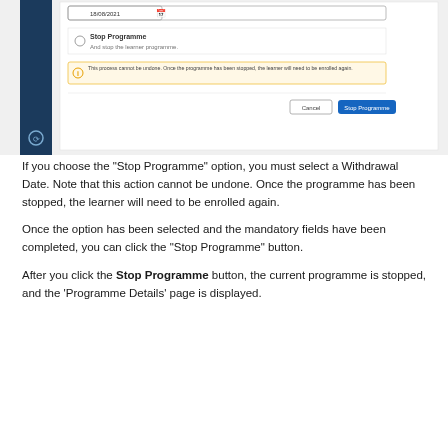[Figure (screenshot): Screenshot of a web application showing a dialog/form with a date field showing 18/08/2021, a 'Stop Programme' radio option with text 'And stop the learner programme', an information alert stating 'This process cannot be undone. Once the programme has been stopped, the learner will need to be enrolled again.', and two buttons: 'Cancel' and a blue 'Stop Programme' button. A dark navy sidebar is visible on the left.]
If you choose the "Stop Programme" option, you must select a Withdrawal Date. Note that this action cannot be undone. Once the programme has been stopped, the learner will need to be enrolled again.
Once the option has been selected and the mandatory fields have been completed, you can click the "Stop Programme" button.
After you click the Stop Programme button, the current programme is stopped, and the 'Programme Details' page is displayed.